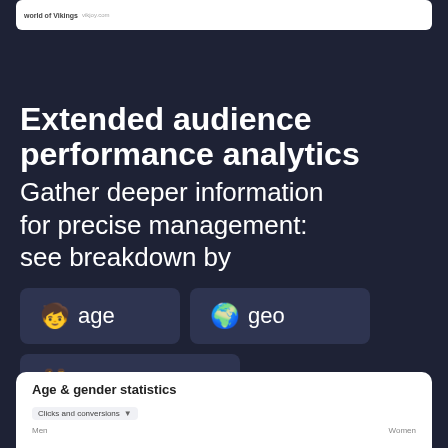[Figure (screenshot): Top white card showing a partial screenshot of a web page with 'world of Vikings' text]
Extended audience performance analytics
Gather deeper information for precise management: see breakdown by
🧒 age
🌍 geo
👫 gender
[Figure (screenshot): Bottom white card showing 'Age & gender statistics' with 'Clicks and conversions' filter dropdown and Men/Women labels]